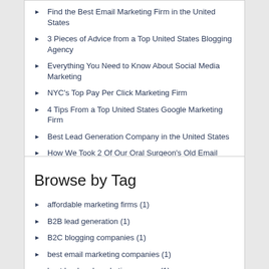Find the Best Email Marketing Firm in the United States
3 Pieces of Advice from a Top United States Blogging Agency
Everything You Need to Know About Social Media Marketing
NYC's Top Pay Per Click Marketing Firm
4 Tips From a Top United States Google Marketing Firm
Best Lead Generation Company in the United States
How We Took 2 Of Our Oral Surgeon's Old Email Lists and Turned It Into $250,000
Browse by Tag
affordable marketing firms (1)
B2B lead generation (1)
B2C blogging companies (1)
best email marketing companies (1)
best lead and marketing agency (1)
best lead generation firm (2)
Best Medical Marketing Firms (1)